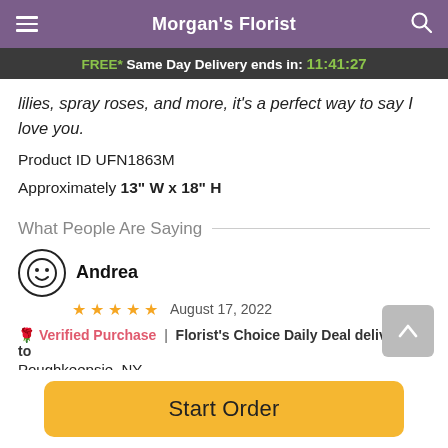Morgan's Florist
FREE* Same Day Delivery ends in: 11:41:27
lilies, spray roses, and more, it's a perfect way to say I love you.
Product ID UFN1863M
Approximately 13" W x 18" H
What People Are Saying
Andrea
★★★★★  August 17, 2022
🌹 Verified Purchase | Florist's Choice Daily Deal delivered to Poughkeepsie, NY